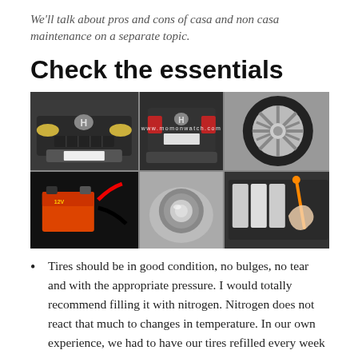We'll talk about pros and cons of casa and non casa maintenance on a separate topic.
Check the essentials
[Figure (photo): A collage of 6 car photos showing: front of a Honda car, rear of a black sedan, a car tire/wheel, a car battery, a fuel cap/tank opening, and an engine with dipstick check. Watermark: www.momonwatch.com]
Tires should be in good condition, no bulges, no tear and with the appropriate pressure. I would totally recommend filling it with nitrogen. Nitrogen does not react that much to changes in temperature. In our own experience, we had to have our tires refilled every week with compressed air. With nitrogen, it takes months before the pressure drops by 1 psi.